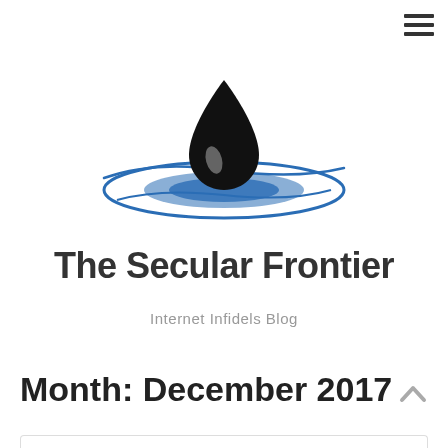[Figure (logo): The Secular Frontier logo: a black water drop above blue ripple/wave ellipses on a white background]
The Secular Frontier
Internet Infidels Blog
Month: December 2017